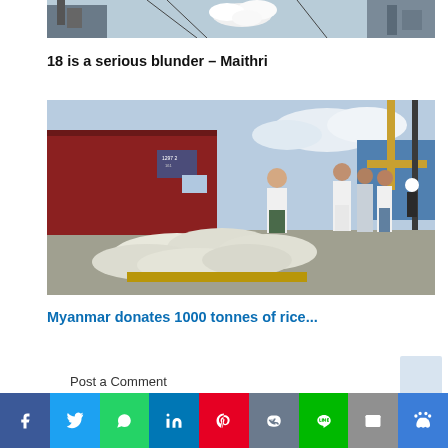[Figure (photo): Top partial image showing white flowers and industrial/machinery equipment in the background]
18 is a serious blunder – Maithri
[Figure (photo): Photo of several men in traditional dress standing near large white sacks of rice at a port/dock area with shipping containers in background]
Myanmar donates 1000 tonnes of rice...
Post a Comment
Social share bar: Facebook, Twitter, WhatsApp, LinkedIn, Pinterest, VK, LINE, Email, More